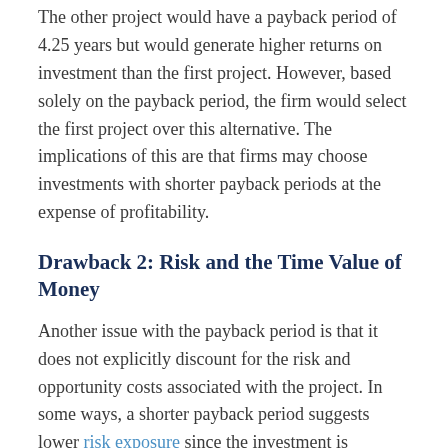The other project would have a payback period of 4.25 years but would generate higher returns on investment than the first project. However, based solely on the payback period, the firm would select the first project over this alternative. The implications of this are that firms may choose investments with shorter payback periods at the expense of profitability.
Drawback 2: Risk and the Time Value of Money
Another issue with the payback period is that it does not explicitly discount for the risk and opportunity costs associated with the project. In some ways, a shorter payback period suggests lower risk exposure since the investment is returned at an earlier date. However, different projects may have exposure to different levels of risk even during the